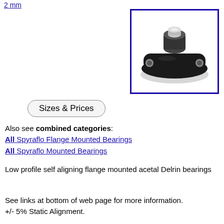2 mm
[Figure (photo): Flange mounted acetal Delrin bearing, low profile, black oval base with two mounting holes and a white cylindrical bushing in the center, shown in a blue-bordered box.]
Sizes & Prices
Also see combined categories:
All Spyraflo Flange Mounted Bearings
All Spyraflo Mounted Bearings
Low profile self aligning flange mounted acetal Delrin bearings
See links at bottom of web page for more information. +/- 5% Static Alignment.